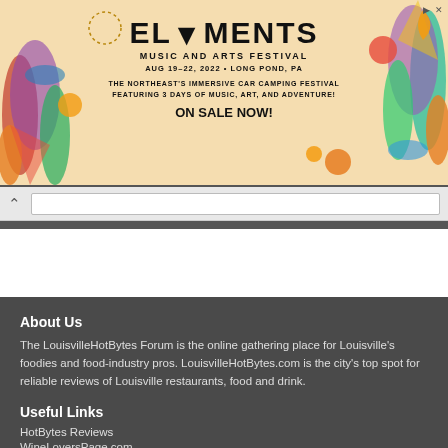[Figure (infographic): Advertisement banner for Elements Music and Arts Festival. Colorful festival artwork with tropical/psychedelic motifs. Text reads: ELEMENTS Music and Arts Festival, AUG 19-22, 2022 • LONG POND, PA, THE NORTHEAST'S IMMERSIVE CAR CAMPING FESTIVAL FEATURING 3 DAYS OF MUSIC, ART, AND ADVENTURE!, ON SALE NOW!]
About Us
The LouisvilleHotBytes Forum is the online gathering place for Louisville's foodies and food-industry pros. LouisvilleHotBytes.com is the city's top spot for reliable reviews of Louisville restaurants, food and drink.
Useful Links
HotBytes Reviews
WineLoversPage.com
30 Second Wine Advisor